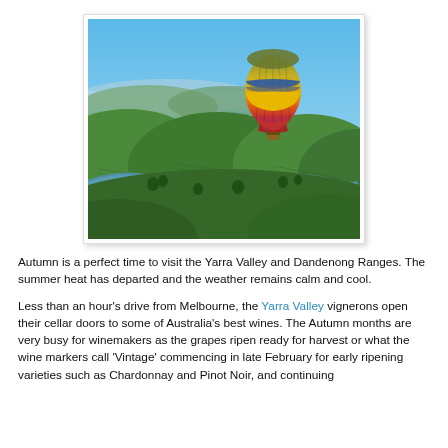[Figure (photo): Aerial photograph of Yarra Valley vineyards with a river winding through rolling green hills and a colorful hot air balloon (yellow, red, purple, with blue and grey bands) in the upper right, under a clear blue sky with distant water and hills in the background.]
Autumn is a perfect time to visit the Yarra Valley and Dandenong Ranges. The summer heat has departed and the weather remains calm and cool.
Less than an hour's drive from Melbourne, the Yarra Valley vignerons open their cellar doors to some of Australia's best wines. The Autumn months are very busy for winemakers as the grapes ripen ready for harvest or what the wine markers call 'Vintage' commencing in late February for early ripening varieties such as Chardonnay and Pinot Noir, and continuing through to May...